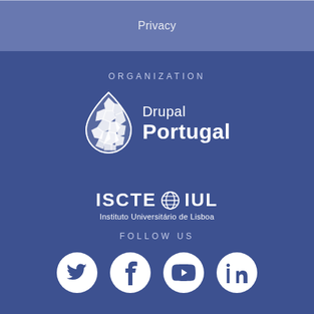Privacy
ORGANIZATION
[Figure (logo): Drupal Portugal logo: a water droplet shape made of stone-like tessellations, white, next to text 'Drupal' and 'Portugal' in white on blue background]
[Figure (logo): ISCTE IUL logo: bold white text 'ISCTE IUL' with globe icon, subtitle 'Instituto Universitário de Lisboa']
FOLLOW US
[Figure (infographic): Four white social media icon circles on blue background: Twitter bird, Facebook f, YouTube play button, LinkedIn in]